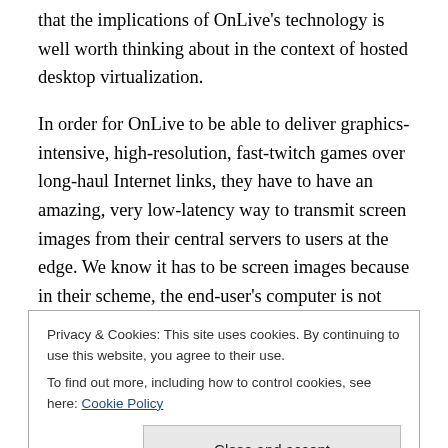that the implications of OnLive's technology is well worth thinking about in the context of hosted desktop virtualization.
In order for OnLive to be able to deliver graphics-intensive, high-resolution, fast-twitch games over long-haul Internet links, they have to have an amazing, very low-latency way to transmit screen images from their central servers to users at the edge. We know it has to be screen images because in their scheme, the end-user's computer is not responsible for rendering anything. (This kind of display is
Privacy & Cookies: This site uses cookies. By continuing to use this website, you agree to their use.
To find out more, including how to control cookies, see here: Cookie Policy
update is theoretically awesome for business uses too, not